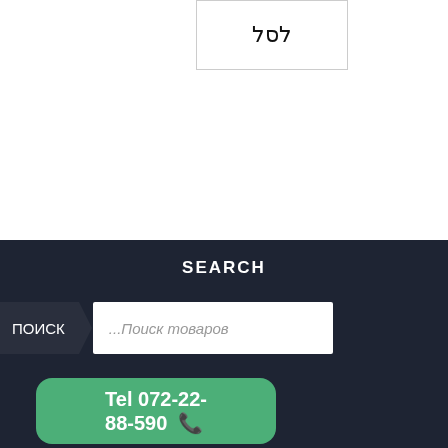לסל
SEARCH
...Поиск товаров
Tel 072-22-88-590